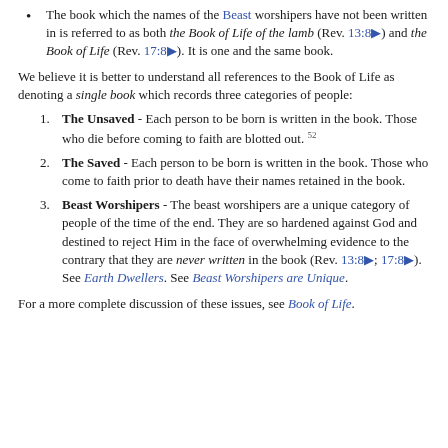The book which the names of the Beast worshipers have not been written in is referred to as both the Book of Life of the lamb (Rev. 13:8) and the Book of Life (Rev. 17:8). It is one and the same book.
We believe it is better to understand all references to the Book of Life as denoting a single book which records three categories of people:
The Unsaved - Each person to be born is written in the book. Those who die before coming to faith are blotted out. 52
The Saved - Each person to be born is written in the book. Those who come to faith prior to death have their names retained in the book.
Beast Worshipers - The beast worshipers are a unique category of people of the time of the end. They are so hardened against God and destined to reject Him in the face of overwhelming evidence to the contrary that they are never written in the book (Rev. 13:8; 17:8). See Earth Dwellers. See Beast Worshipers are Unique.
For a more complete discussion of these issues, see Book of Life.